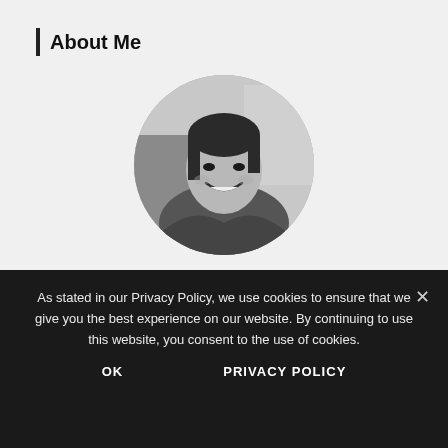About Me
[Figure (photo): Circular black-and-white profile photo of a smiling woman with short dark hair, appears to be outdoors]
Pia is a stay-at-home mom living in the Philippines. She's a former teacher and homeschooling mom. She creates worksheets and other teaching materials and shares them
As stated in our Privacy Policy, we use cookies to ensure that we give you the best experience on our website. By continuing to use this website, you consent to the use of cookies.
OK    PRIVACY POLICY